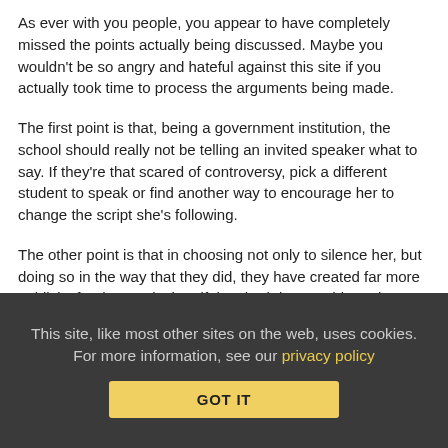As ever with you people, you appear to have completely missed the points actually being discussed. Maybe you wouldn't be so angry and hateful against this site if you actually took time to process the arguments being made.
The first point is that, being a government institution, the school should really not be telling an invited speaker what to say. If they're that scared of controversy, pick a different student to speak or find another way to encourage her to change the script she's following.
The other point is that in choosing not only to silence her, but doing so in the way that they did, they have created far more publicity for the words than if they had done nothing. The act of censorship not only got her to publish the whole thing online, but got many thousands more people over the world to see it, and many, many more being made aware of it through international press.
This site, like most other sites on the web, uses cookies. For more information, see our privacy policy
GOT IT